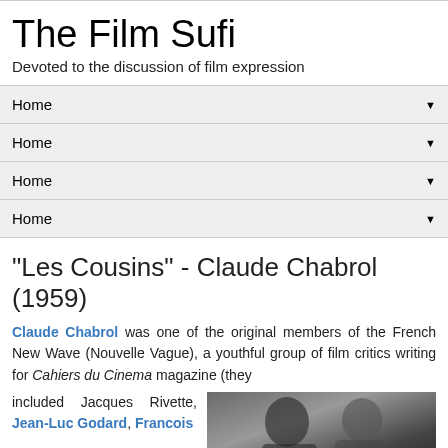The Film Sufi
Devoted to the discussion of film expression
Home ▼
Home ▼
Home ▼
Home ▼
"Les Cousins" - Claude Chabrol (1959)
Claude Chabrol was one of the original members of the French New Wave (Nouvelle Vague), a youthful group of film critics writing for Cahiers du Cinema magazine (they included Jacques Rivette, Jean-Luc Godard, Francois
[Figure (photo): Black and white film still photograph, showing two people in close proximity, appears to be a scene from the movie Les Cousins (1959)]